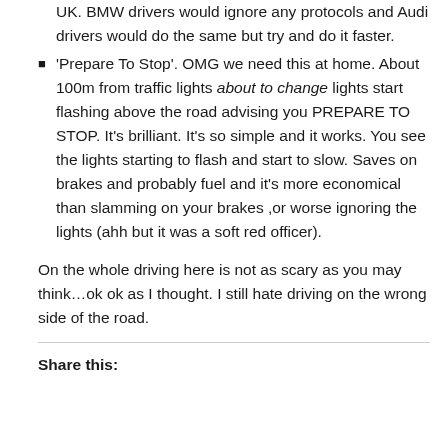UK. BMW drivers would ignore any protocols and Audi drivers would do the same but try and do it faster.
'Prepare To Stop'. OMG we need this at home. About 100m from traffic lights about to change lights start flashing above the road advising you PREPARE TO STOP. It’s brilliant. It’s so simple and it works. You see the lights starting to flash and start to slow. Saves on brakes and probably fuel and it’s more economical than slamming on your brakes ,or worse ignoring the lights (ahh but it was a soft red officer).
On the whole driving here is not as scary as you may think…ok ok as I thought. I still hate driving on the wrong side of the road.
Share this: